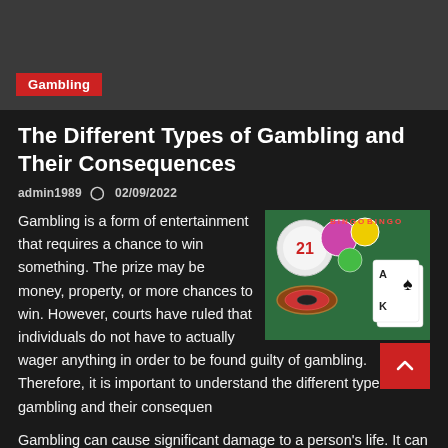[Figure (other): Dark banner header with a red 'Gambling' category tag label]
The Different Types of Gambling and Their Consequences
admin1989  02/09/2022
[Figure (photo): Photo of gambling items including bingo balls, playing cards, roulette wheel, and casino table]
Gambling is a form of entertainment that requires a chance to win something. The prize may be money, property, or more chances to win. However, courts have ruled that individuals do not have to actually wager anything in order to be found guilty of gambling. Therefore, it is important to understand the different types of gambling and their consequences.
Gambling can cause significant damage to a person's life. It can ruin relationships, affect work, and lead to